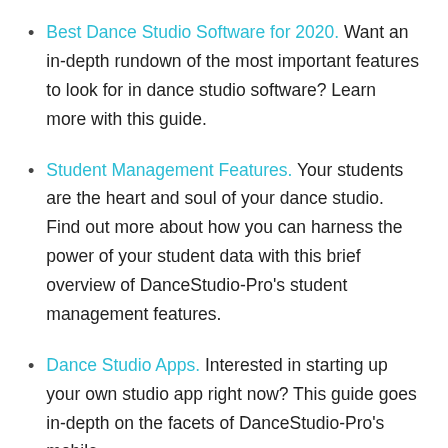Best Dance Studio Software for 2020. Want an in-depth rundown of the most important features to look for in dance studio software? Learn more with this guide.
Student Management Features. Your students are the heart and soul of your dance studio. Find out more about how you can harness the power of your student data with this brief overview of DanceStudio-Pro's student management features.
Dance Studio Apps. Interested in starting up your own studio app right now? This guide goes in-depth on the facets of DanceStudio-Pro's mobile